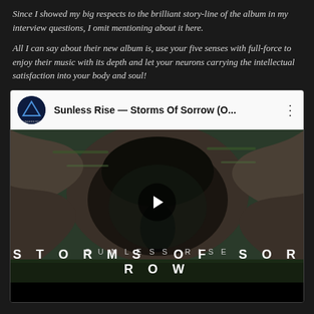Since I showed my big respects to the brilliant story-line of the album in my interview questions, I omit mentioning about it here.
All I can say about their new album is, use your five senses with full-force to enjoy their music with its depth and let your neurons carrying the intellectual satisfaction into your body and soul!
[Figure (screenshot): YouTube embed showing Sunless Rise — Storms Of Sorrow (O... video with thumbnail of rocky cave/nature scene, play button overlay, and text SUNLESS RISE / STORMS OF SORROW at bottom]